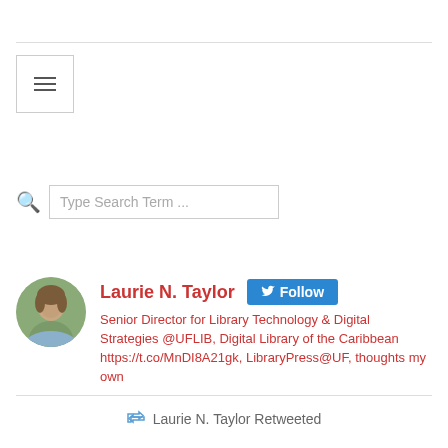[Figure (screenshot): Horizontal rule / divider line near top of page]
[Figure (screenshot): Hamburger menu icon inside a bordered box]
[Figure (screenshot): Search bar with magnifying glass icon and placeholder text 'Type Search Term ...']
[Figure (screenshot): Twitter profile card: avatar photo, name 'Laurie N. Taylor', Follow button, bio text]
Laurie N. Taylor Retweeted